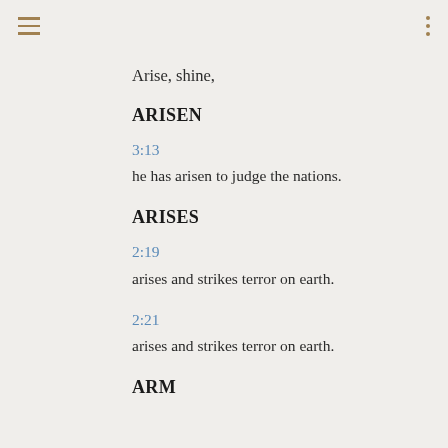≡  ⋮
Arise, shine,
ARISEN
3:13 he has arisen to judge the nations.
ARISES
2:19 arises and strikes terror on earth.
2:21 arises and strikes terror on earth.
ARM